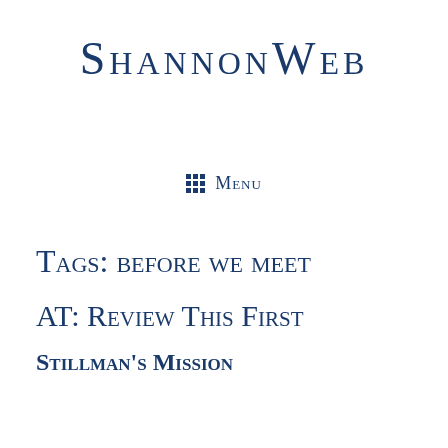ShannonWeb
Menu
Tags: before we meet
AT: Review This First
Stillman's Mission